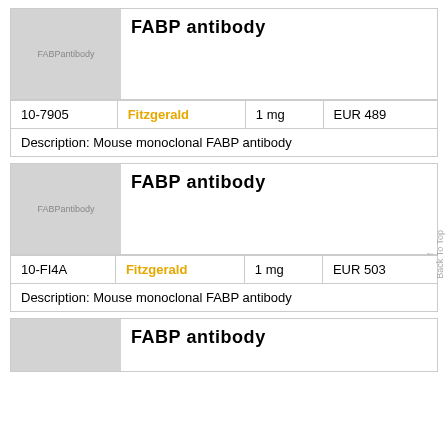FABP antibody
| ID | Supplier | Amount | Price |
| --- | --- | --- | --- |
| 10-7905 | Fitzgerald | 1mg | EUR 489 |
Description: Mouse monoclonal FABP antibody
FABP antibody
| ID | Supplier | Amount | Price |
| --- | --- | --- | --- |
| 10-FI4A | Fitzgerald | 1mg | EUR 503 |
Description: Mouse monoclonal FABP antibody
FABP antibody